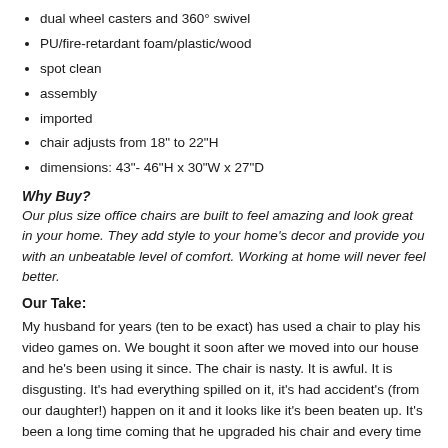dual wheel casters and 360° swivel
PU/fire-retardant foam/plastic/wood
spot clean
assembly
imported
chair adjusts from 18" to 22"H
dimensions: 43"- 46"H x 30"W x 27"D
Why Buy?
Our plus size office chairs are built to feel amazing and look great in your home. They add style to your home’s decor and provide you with an unbeatable level of comfort. Working at home will never feel better.
Our Take:
My husband for years (ten to be exact) has used a chair to play his video games on. We bought it soon after we moved into our house and he's been using it since. The chair is nasty. It is awful. It is disgusting. It's had everything spilled on it, it's had accident's (from our daughter!) happen on it and it looks like it's been beaten up. It's been a long time coming that he upgraded his chair and every time I suggest he gets a new one it's met